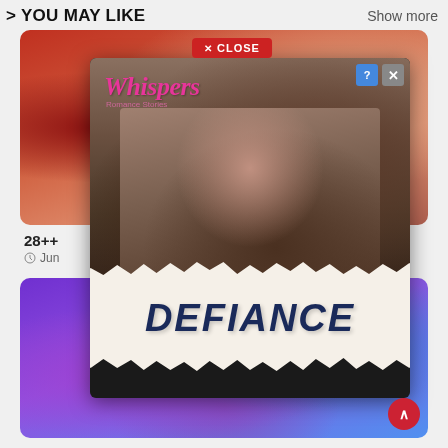> YOU MAY LIKE    Show more
[Figure (screenshot): Screenshot of a mobile app 'You May Like' section showing an advertisement popup for 'Whispers Romance Stories' app featuring a romance novel called 'DEFIANCE'. The popup overlays two content cards - a top card with a reddish background and a bottom card with purple/blue jellyfish background. The ad shows two people in a romantic scene with the Whispers logo and DEFIANCE text on a torn newspaper banner. A red CLOSE button appears at the top of the popup. A scroll-to-top red circular button is visible at the bottom right. The top card shows rating '28++' and a date starting with 'Jun'.]